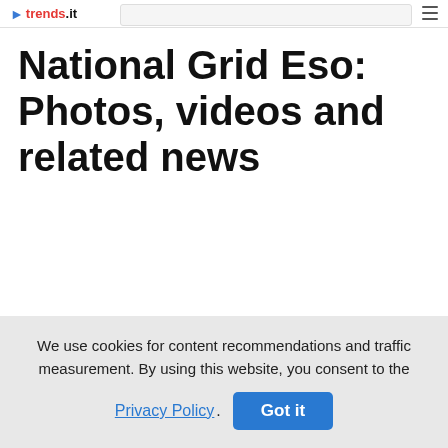trends.it [logo/header bar with search]
National Grid Eso: Photos, videos and related news
We use cookies for content recommendations and traffic measurement. By using this website, you consent to the Privacy Policy. Got it